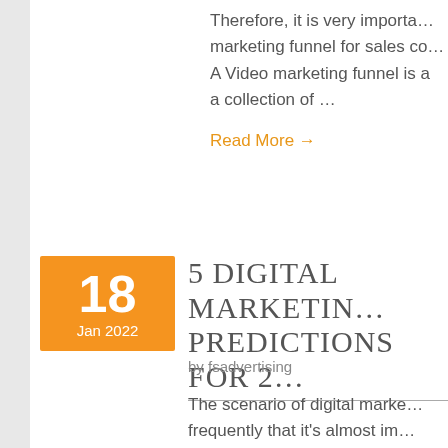Therefore, it is very importa... marketing funnel for sales co... A Video marketing funnel is a a collection of ...
Read More →
[Figure (other): Orange date box showing '18 Jan 2022']
5 DIGITAL MARKETING PREDICTIONS FOR 2...
by fsadvertising
The scenario of digital marke... frequently that it's almost im... what the future of digital ma... of opportunities. Businesses... change all the time often se...